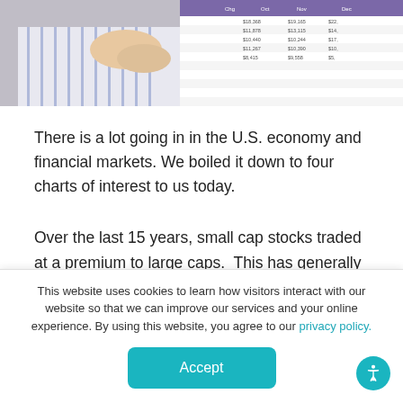[Figure (photo): A person in a striped shirt working at a computer displaying financial spreadsheet data with numbers and columns]
There is a lot going in in the U.S. economy and financial markets. We boiled it down to four charts of interest to us today.
Over the last 15 years, small cap stocks traded at a premium to large caps. This has generally been the case throughout history, as smaller companies can grow earnings faster and thus deserve a premium price-to-earnings ratio. The
This website uses cookies to learn how visitors interact with our website so that we can improve our services and your online experience. By using this website, you agree to our privacy policy.